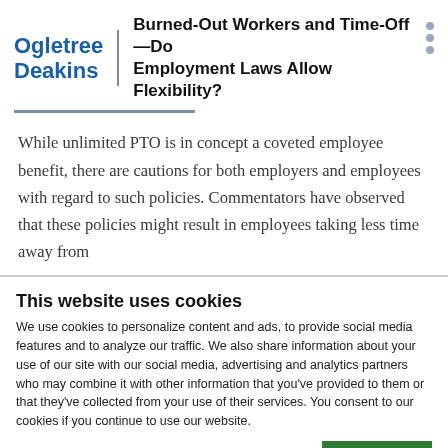Ogletree Deakins | Burned-Out Workers and Time-Off—Do Employment Laws Allow Flexibility?
While unlimited PTO is in concept a coveted employee benefit, there are cautions for both employers and employees with regard to such policies. Commentators have observed that these policies might result in employees taking less time away from
This website uses cookies
We use cookies to personalize content and ads, to provide social media features and to analyze our traffic. We also share information about your use of our site with our social media, advertising and analytics partners who may combine it with other information that you've provided to them or that they've collected from your use of their services. You consent to our cookies if you continue to use our website.
OK
Necessary  Preferences  Statistics  Marketing  Show details